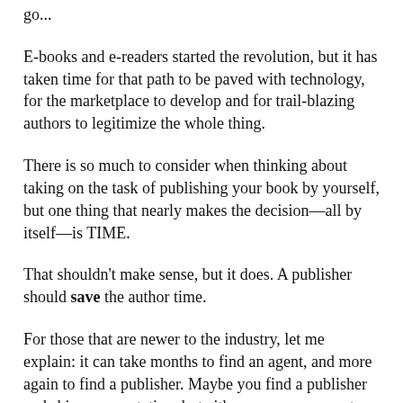go...
E-books and e-readers started the revolution, but it has taken time for that path to be paved with technology, for the marketplace to develop and for trail-blazing authors to legitimize the whole thing.
There is so much to consider when thinking about taking on the task of publishing your book by yourself, but one thing that nearly makes the decision—all by itself—is TIME.
That shouldn’t make sense, but it does. A publisher should save the author time.
For those that are newer to the industry, let me explain: it can take months to find an agent, and more again to find a publisher. Maybe you find a publisher and skip representation, but either way, you are out months of hard work querying and searching for a single opportunistic moment when your manuscript hits the right person at the right time. Once this magical moment happens, you are unfortunately only beginning on the path to published...